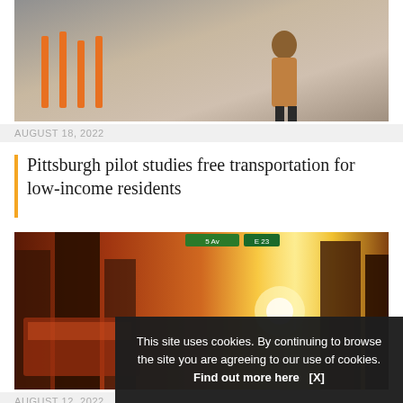[Figure (photo): Person standing near orange and black scooters on a city street]
AUGUST 18, 2022
Pittsburgh pilot studies free transportation for low-income residents
[Figure (photo): City street at sunset with motion blur of bus and buildings]
AUGUST 12, 2022
Hayden AI to provide 300 ABLE camera systems for New York MTA
[Figure (photo): Partial photo at bottom of page, cropped]
This site uses cookies. By continuing to browse the site you are agreeing to our use of cookies. Find out more here   [X]